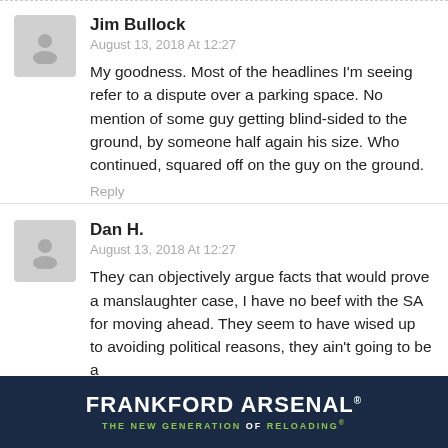Jim Bullock
August 13, 2018 At 12:27
My goodness. Most of the headlines I'm seeing refer to a dispute over a parking space. No mention of some guy getting blind-sided to the ground, by someone half again his size. Who continued, squared off on the guy on the ground.
Reply
Dan H.
August 13, 2018 At 12:27
They can objectively argue facts that would prove a manslaughter case, I have no beef with the SA for moving ahead. They seem to have wised up to avoiding political reasons, they ain't going to be a …to come down
[Figure (infographic): Frankford Arsenal advertisement banner: dark navy blue background with large white bold text 'FRANKFORD ARSENAL' and green subtitle 'THE NEW GENERATION OF RELOADING']